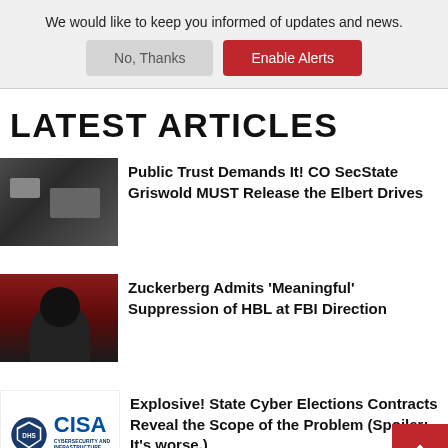We would like to keep you informed of updates and news.
No, Thanks | Enable Alerts
LATEST ARTICLES
Public Trust Demands It! CO SecState Griswold MUST Release the Elbert Drives
Zuckerberg Admits 'Meaningful' Suppression of HBL at FBI Direction
Explosive! State Cyber Elections Contracts Reveal the Scope of the Problem (Spoiler: It's worse.)